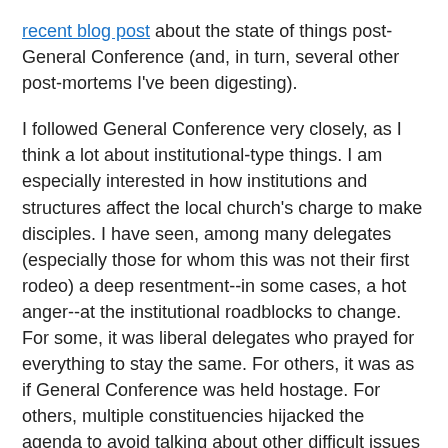recent blog post about the state of things post-General Conference (and, in turn, several other post-mortems I've been digesting).
I followed General Conference very closely, as I think a lot about institutional-type things. I am especially interested in how institutions and structures affect the local church's charge to make disciples. I have seen, among many delegates (especially those for whom this was not their first rodeo) a deep resentment--in some cases, a hot anger--at the institutional roadblocks to change. For some, it was liberal delegates who prayed for everything to stay the same. For others, it was as if General Conference was held hostage. For others, multiple constituencies hijacked the agenda to avoid talking about other difficult issues (sexuality, of course, being the main culprit). Still others blame the Judicial Council, as if the JC should have just gone along with the body because the vote was 60%, which is 10% more than 50%!
Forgive me for sounding glib, but there is one thing not being discussed--and perhaps we are all just trying to be polite . . .